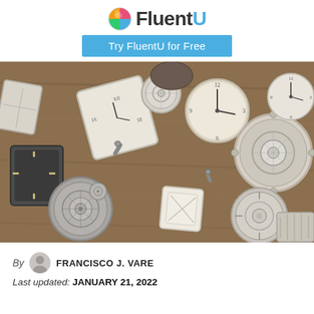FluentU — Try FluentU for Free
[Figure (photo): Collection of vintage watch faces, clock mechanisms, and timepiece parts scattered on a wooden surface. Various shapes including round, square, and rectangular watch movements, some showing gears and internal mechanisms, others showing clock faces with Roman numerals or regular numbers.]
By FRANCISCO J. VARE
Last updated: JANUARY 21, 2022